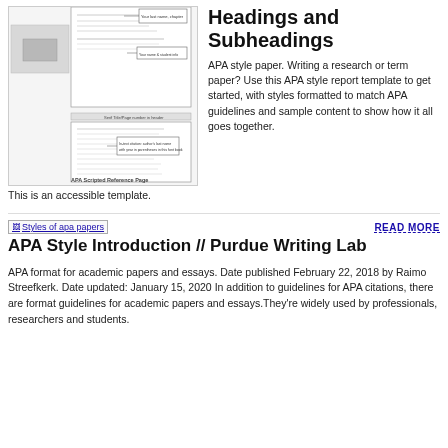[Figure (illustration): Diagram of an APA style paper showing annotated sections including title page, headings, reference page with callout labels]
Headings and Subheadings
APA style paper. Writing a research or term paper? Use this APA style report template to get started, with styles formatted to match APA guidelines and sample content to show how it all goes together. This is an accessible template.
[Figure (illustration): Broken image placeholder labeled 'Styles of apa papers']
READ MORE
APA Style Introduction // Purdue Writing Lab
APA format for academic papers and essays. Date published February 22, 2018 by Raimo Streefkerk. Date updated: January 15, 2020 In addition to guidelines for APA citations, there are format guidelines for academic papers and essays.They're widely used by professionals, researchers and students.